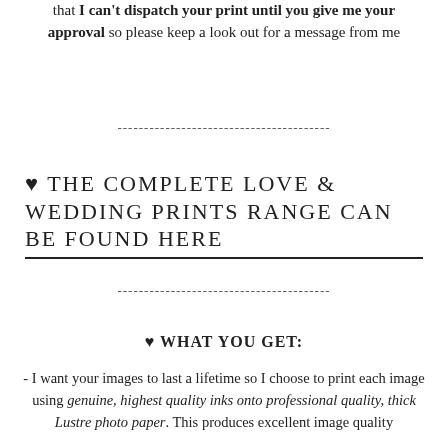that I can't dispatch your print until you give me your approval so please keep a look out for a message from me
----------------------------------------
♥ THE COMPLETE LOVE & WEDDING PRINTS RANGE CAN BE FOUND HERE
----------------------------------------
♥ WHAT YOU GET:
- I want your images to last a lifetime so I choose to print each image using genuine, highest quality inks onto professional quality, thick Lustre photo paper. This produces excellent image quality